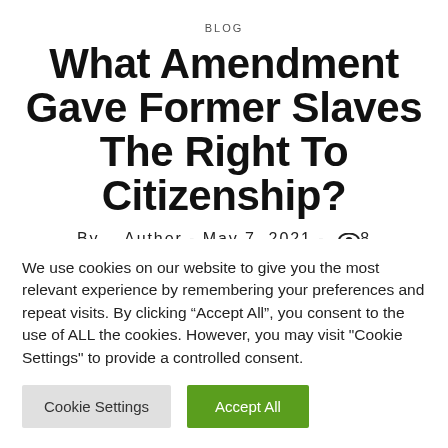BLOG
What Amendment Gave Former Slaves The Right To Citizenship?
By   Author - May 7, 2021 - 👁 8
We use cookies on our website to give you the most relevant experience by remembering your preferences and repeat visits. By clicking "Accept All", you consent to the use of ALL the cookies. However, you may visit "Cookie Settings" to provide a controlled consent.